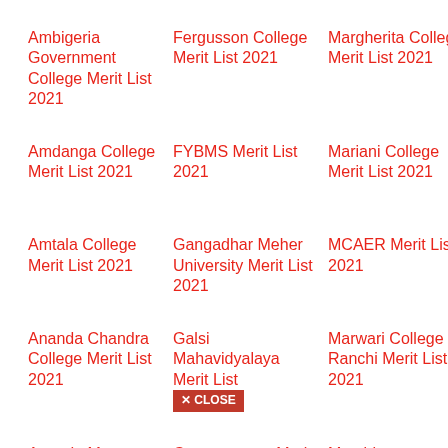Ambigeria Government College Merit List 2021
Fergusson College Merit List 2021
Margherita College Merit List 2021
SB Deoral College M List 2021
Amdanga College Merit List 2021
FYBMS Merit List 2021
Mariani College Merit List 2021
Scottish C College M List 2021
Amtala College Merit List 2021
Gangadhar Meher University Merit List 2021
MCAER Merit List 2021
SGGU Mer 2021
Ananda Chandra College Merit List 2021
Galsi Mahavidyalaya Merit List [CLOSE button]
Marwari College Ranchi Merit List 2021
SDSM Me List 2021
Ananda Marga College Merit List 2021
Gangarampur Merit List 2021
Matabhanga College Merit List 2021
SECL Trad Apprentice Merit List